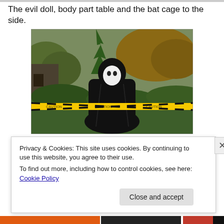The evil doll, body part table and the bat cage to the side.
[Figure (photo): Outdoor Halloween decoration: a figure dressed in a black robe and white mask stands in a garden with trees and bushes. Yellow and black caution tape crosses in the foreground.]
Privacy & Cookies: This site uses cookies. By continuing to use this website, you agree to their use.
To find out more, including how to control cookies, see here: Cookie Policy